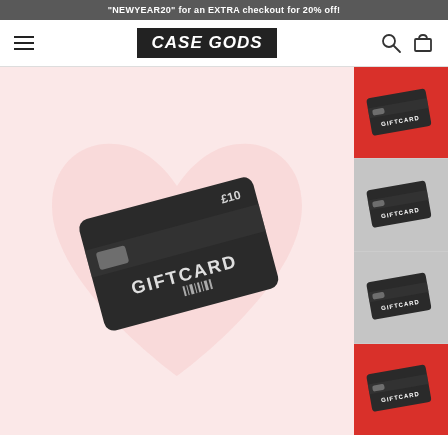"NEWYEAR20" for an EXTRA checkout for 20% off!
[Figure (logo): Case Gods brand logo — white bold italic text on black background]
[Figure (photo): Main product image: gift card with dark card on pink/light red background, text 'GIFTCARD' and '£10' visible]
[Figure (photo): Thumbnail 1: gift card product on red background]
[Figure (photo): Thumbnail 2: gift card product on red background]
[Figure (photo): Thumbnail 3: gift card product on red background]
[Figure (photo): Thumbnail 4: gift card product on red background]